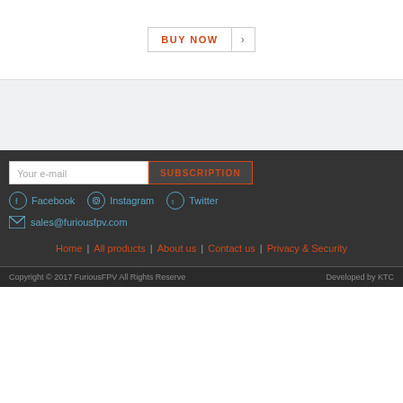BUY NOW
Your e-mail
SUBSCRIPTION
Facebook
Instagram
Twitter
sales@furiousfpv.com
Home | All products | About us | Contact us | Privacy & Security
Copyright © 2017 FuriousFPV All Rights Reserve    Developed by KTC